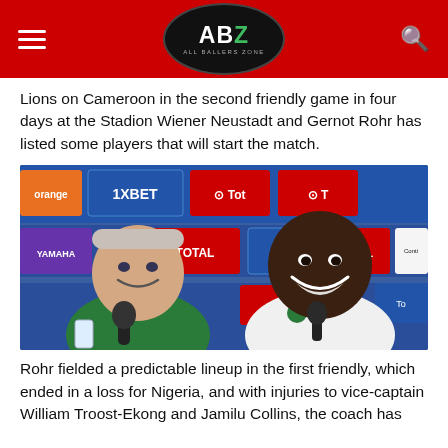ABZ All Ballers Zone
Lions on Cameroon in the second friendly game in four days at the Stadion Wiener Neustadt and Gernot Rohr has listed some players that will start the match.
[Figure (photo): Press conference photo of Gernot Rohr (in green Nigeria national team shirt, older white man smiling) and Ahmed Musa (young Black man in white shirt, laughing broadly) seated at a table with microphones, with sponsor boards (1XBET, TOTAL, YAMAHA, Continental) in background.]
Rohr fielded a predictable lineup in the first friendly, which ended in a loss for Nigeria, and with injuries to vice-captain William Troost-Ekong and Jamilu Collins, the coach has